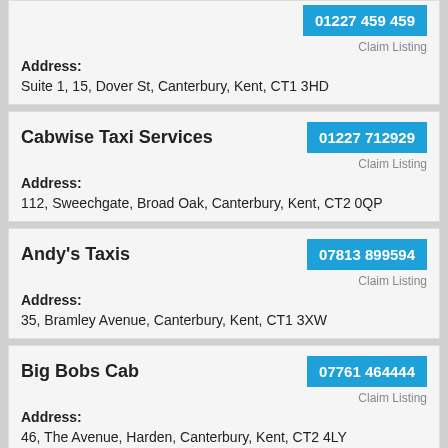Cab Co — 01227 459 459 | Address: Suite 1, 15, Dover St, Canterbury, Kent, CT1 3HD
Cabwise Taxi Services — 01227 712929 | Address: 112, Sweechgate, Broad Oak, Canterbury, Kent, CT2 0QP
Andy's Taxis — 07813 899594 | Address: 35, Bramley Avenue, Canterbury, Kent, CT1 3XW
Big Bobs Cab — 07761 464444 | Address: 46, The Avenue, Harden, Canterbury, Kent, CT2 4LY